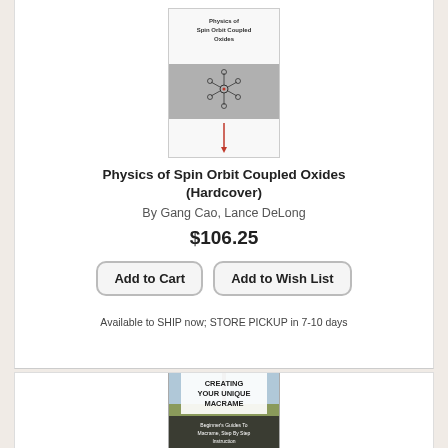[Figure (photo): Book cover for Physics of Spin Orbit Coupled Oxides showing title text and a crystallographic/molecular diagram on a gray background with a red arrow below]
Physics of Spin Orbit Coupled Oxides (Hardcover)
By Gang Cao, Lance DeLong
$106.25
Add to Cart
Add to Wish List
Available to SHIP now; STORE PICKUP in 7-10 days
[Figure (photo): Book cover for Creating Your Unique Macrame showing a macrame piece outdoors and text: CREATING YOUR UNIQUE MACRAME, Beginner's Guides To Macrame, Step By Step Instruction]